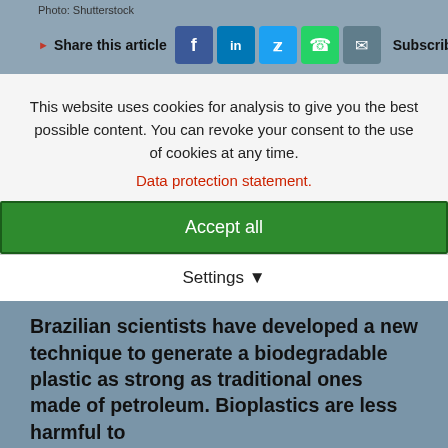Photo: Shutterstock
Share this article
[Figure (other): Social share buttons: Facebook, LinkedIn, Twitter, WhatsApp, Email. Subscribe to our newsletter text.]
This website uses cookies for analysis to give you the best possible content. You can revoke your consent to the use of cookies at any time.
Data protection statement.
Accept all
Settings
Brazilian scientists have developed a new technique to generate a biodegradable plastic as strong as traditional ones made of petroleum. Bioplastics are less harmful to